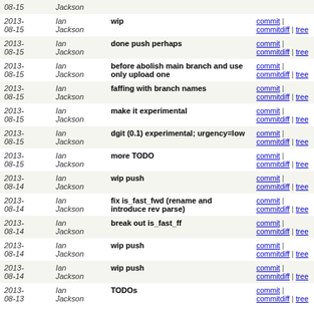| Date | Author | Message | Links |
| --- | --- | --- | --- |
| 2013-08-15 | Ian Jackson | wip | commit | commitdiff | tree |
| 2013-08-15 | Ian Jackson | done push perhaps | commit | commitdiff | tree |
| 2013-08-15 | Ian Jackson | before abolish main branch and use only upload one | commit | commitdiff | tree |
| 2013-08-15 | Ian Jackson | faffing with branch names | commit | commitdiff | tree |
| 2013-08-15 | Ian Jackson | make it experimental | commit | commitdiff | tree |
| 2013-08-15 | Ian Jackson | dgit (0.1) experimental; urgency=low | commit | commitdiff | tree |
| 2013-08-15 | Ian Jackson | more TODO | commit | commitdiff | tree |
| 2013-08-14 | Ian Jackson | wip push | commit | commitdiff | tree |
| 2013-08-14 | Ian Jackson | fix is_fast_fwd (rename and introduce rev parse) | commit | commitdiff | tree |
| 2013-08-14 | Ian Jackson | break out is_fast_ff | commit | commitdiff | tree |
| 2013-08-14 | Ian Jackson | wip push | commit | commitdiff | tree |
| 2013-08-14 | Ian Jackson | wip push | commit | commitdiff | tree |
| 2013-08-13 | Ian Jackson | TODOs | commit | commitdiff | tree |